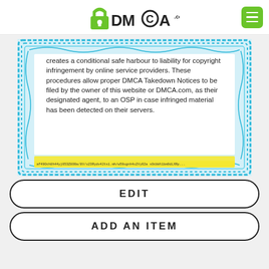[Figure (logo): DMCA.com logo with padlock icon and green menu button]
creates a conditional safe harbour to liability for copyright infringement by online service providers. These procedures allow proper DMCA Takedown Notices to be filed by the owner of this website or DMCA.com, as their designated agent, to an OSP in case infringed material has been detected on their servers.
EDIT
ADD AN ITEM